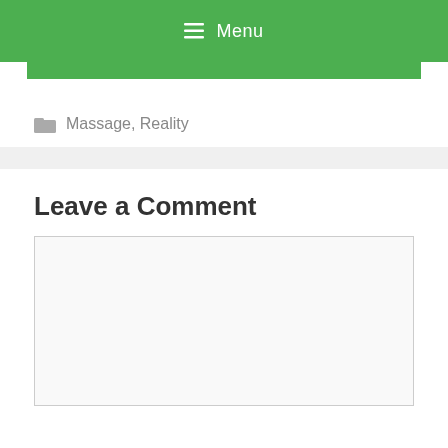☰ Menu
Massage, Reality
Leave a Comment